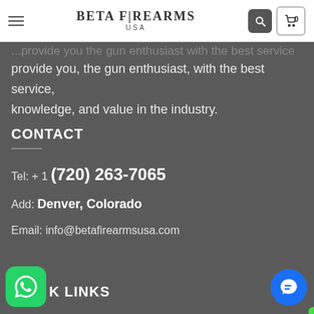BETA FIREARMS USA
provide you, the gun enthusiast, with the best service, knowledge, and value in the industry.
CONTACT
Tel: + 1 (720) 263-7065
Add: Denver, Colorado
Email: info@betafirearmsusa.com
QUICK LINKS